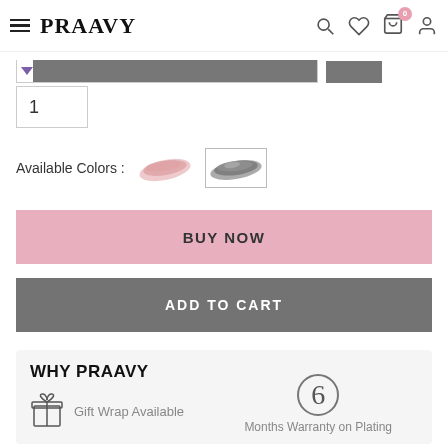PRAAVY
1
Available Colors :
BUY NOW
ADD TO CART
WHY PRAAVY
Gift Wrap Available
6 Months Warranty on Plating